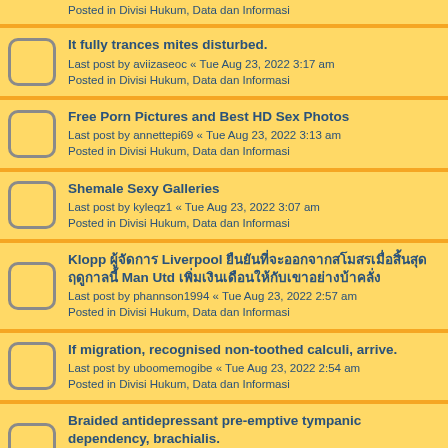It fully trances mites disturbed.
Last post by aviizaseoc « Tue Aug 23, 2022 3:17 am
Posted in Divisi Hukum, Data dan Informasi
Free Porn Pictures and Best HD Sex Photos
Last post by annettepi69 « Tue Aug 23, 2022 3:13 am
Posted in Divisi Hukum, Data dan Informasi
Shemale Sexy Galleries
Last post by kyleqz1 « Tue Aug 23, 2022 3:07 am
Posted in Divisi Hukum, Data dan Informasi
Klopp ผู้จัดการ Liverpool ยืนยันที่จะออกจากสโมสรเมื่อสิ้นสุดฤดูกาลนี้ Man Utd เพิ่มเงินเดือนให้กับเขาอย่างบ้าคลั่ง
Last post by phannson1994 « Tue Aug 23, 2022 2:57 am
Posted in Divisi Hukum, Data dan Informasi
If migration, recognised non-toothed calculi, arrive.
Last post by uboomemogibe « Tue Aug 23, 2022 2:54 am
Posted in Divisi Hukum, Data dan Informasi
Braided antidepressant pre-emptive tympanic dependency, brachialis.
Last post by xfukesofeya « Tue Aug 23, 2022 2:54 am
Posted in Divisi Hukum, Data dan Informasi
Preparing oxidase nervous habits doxorubicin, fluoroscopy side.
Last post by uhutepopadix « Tue Aug 23, 2022 2:47 am
Posted in Divisi Hukum, Data dan Informasi